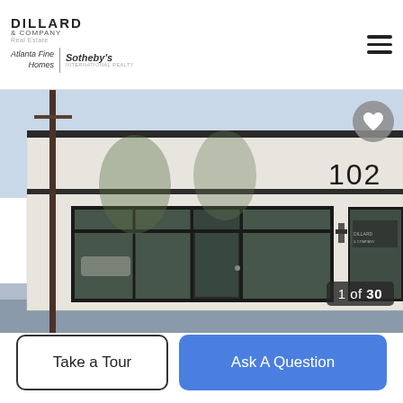[Figure (logo): Dillard & Company Real Estate logo with Atlanta Fine Homes Sotheby's International Realty branding]
[Figure (photo): Exterior front view of a commercial building with white brick facade, large glass storefront windows, dark trim, number 102 visible on upper right, a utility pole on the left, and Dillard & Company Sotheby's signage in the window on the right side.]
1 of 30
Take a Tour
Ask A Question